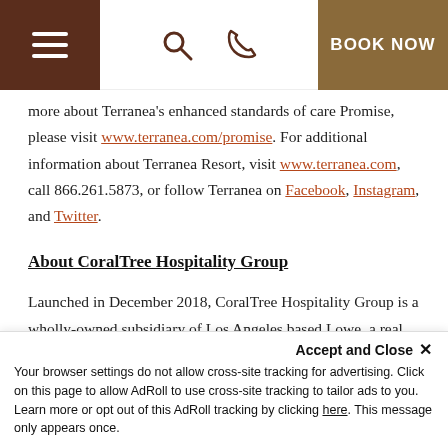Navigation bar with hamburger menu, search icon, phone icon, and BOOK NOW button
more about Terranea's enhanced standards of care Promise, please visit www.terranea.com/promise. For additional information about Terranea Resort, visit www.terranea.com, call 866.261.5873, or follow Terranea on Facebook, Instagram, and Twitter.
About CoralTree Hospitality Group
Launched in December 2018, CoralTree Hospitality Group is a wholly-owned subsidiary of Los Angeles based Lowe, a real estate investment, management and development firm. Colorado-based CoralTree delivers distinctive, memorable experiences that celebrate the surroundings, culture and community of each property. CoralTree was named among the top 20 hotel management companies in the U.S. after only one year of operation by Hotel Business magazine. The company provides hospitality and asset management solutions to hotel properties
Accept and Close ×
Your browser settings do not allow cross-site tracking for advertising. Click on this page to allow AdRoll to use cross-site tracking to tailor ads to you. Learn more or opt out of this AdRoll tracking by clicking here. This message only appears once.